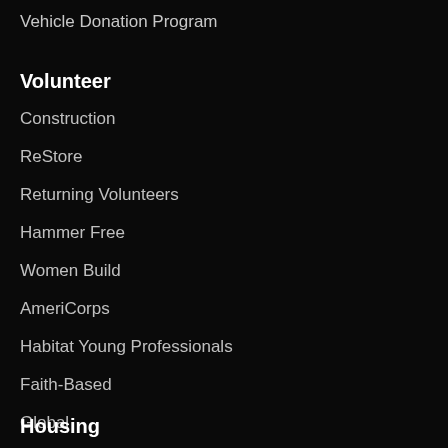Vehicle Donation Program
Volunteer
Construction
ReStore
Returning Volunteers
Hammer Free
Women Build
AmeriCorps
Habitat Young Professionals
Faith-Based
Global
Resources
Housing